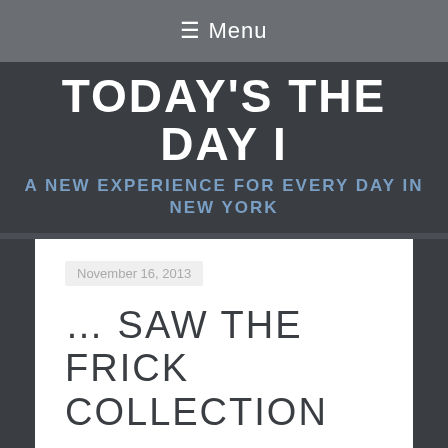≡ Menu
TODAY'S THE DAY I
A NEW EXPERIENCE FOR EVERY DAY IN NEW YORK
November 16, 2013
… SAW THE FRICK COLLECTION
[Figure (photo): Partial view of a building or architectural feature with diagonal metal bars/grillwork against a light sky]